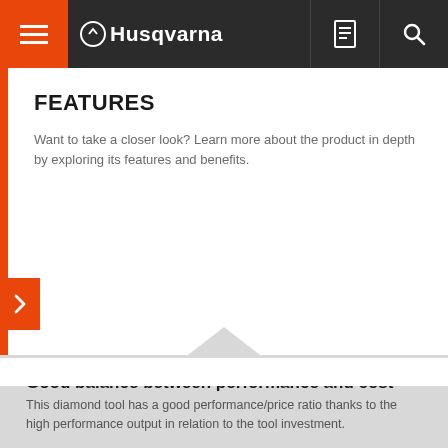Husqvarna
FEATURES
Want to take a closer look? Learn more about the product in depth by exploring its features and benefits.
Good balance between performance and cost
This diamond tool has a good performance/price ratio thanks to the high performance output in relation to the tool investment.